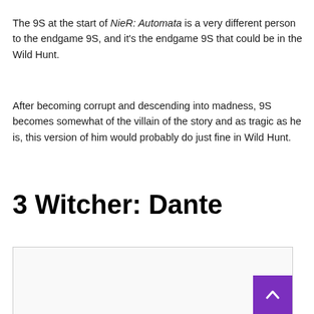The 9S at the start of NieR: Automata is a very different person to the endgame 9S, and it's the endgame 9S that could be in the Wild Hunt.
After becoming corrupt and descending into madness, 9S becomes somewhat of the villain of the story and as tragic as he is, this version of him would probably do just fine in Wild Hunt.
3 Witcher: Dante
[Figure (photo): Image placeholder box with a scroll-to-top button (purple arrow) in the bottom-right corner]